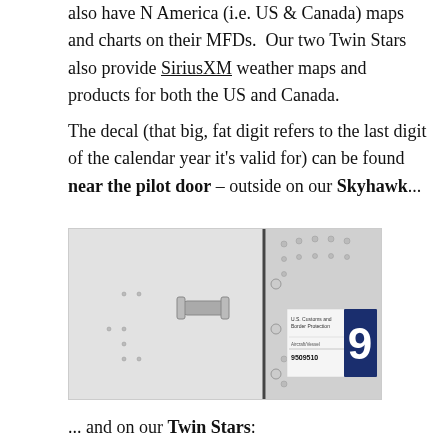also have N America (i.e. US & Canada) maps and charts on their MFDs.  Our two Twin Stars also provide SiriusXM weather maps and products for both the US and Canada.
The decal (that big, fat digit refers to the last digit of the calendar year it's valid for) can be found near the pilot door – outside on our Skyhawk...
[Figure (photo): Close-up photo of the exterior of a white aircraft near the pilot door, showing a door handle and a US Customs and Border Protection decal with a large blue square containing the digit '9' and the text 'Aircraft/Vessel 9509510'.]
... and on our Twin Stars:
[Figure (photo): Partial photo at the bottom of the page showing another aircraft exterior, partially cropped.]